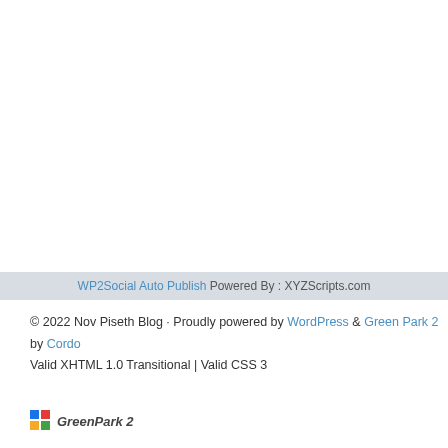WP2Social Auto Publish Powered By : XYZScripts.com
© 2022 Nov Piseth Blog · Proudly powered by WordPress & Green Park 2 by Cordoba · Valid XHTML 1.0 Transitional | Valid CSS 3
[Figure (logo): GreenPark 2 logo — four colored squares (blue, red, yellow, green) arranged in a 2x2 grid followed by the text 'GreenPark 2' in italic bold]